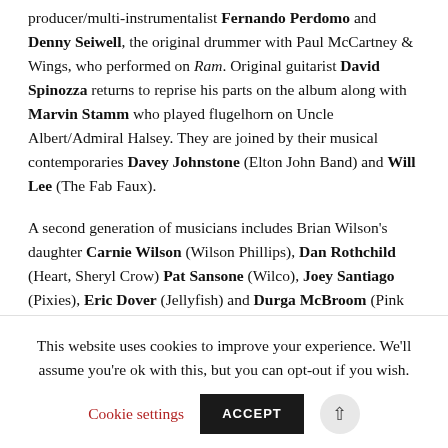producer/multi-instrumentalist Fernando Perdomo and Denny Seiwell, the original drummer with Paul McCartney & Wings, who performed on Ram. Original guitarist David Spinozza returns to reprise his parts on the album along with Marvin Stamm who played flugelhorn on Uncle Albert/Admiral Halsey. They are joined by their musical contemporaries Davey Johnstone (Elton John Band) and Will Lee (The Fab Faux).
A second generation of musicians includes Brian Wilson's daughter Carnie Wilson (Wilson Phillips), Dan Rothchild (Heart, Sheryl Crow) Pat Sansone (Wilco), Joey Santiago (Pixies), Eric Dover (Jellyfish) and Durga McBroom (Pink
This website uses cookies to improve your experience. We'll assume you're ok with this, but you can opt-out if you wish.